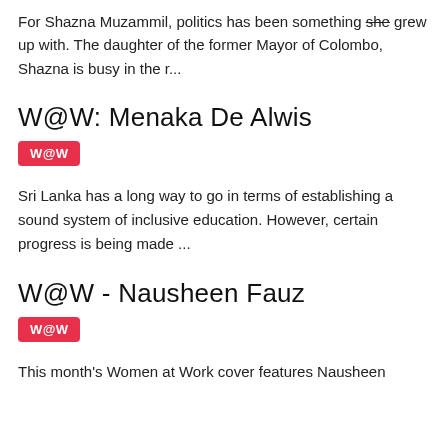For Shazna Muzammil, politics has been something she grew up with. The daughter of the former Mayor of Colombo, Shazna is busy in the r...
W@W: Menaka De Alwis
W@W
Sri Lanka has a long way to go in terms of establishing a sound system of inclusive education. However, certain progress is being made ...
W@W - Nausheen Fauz
W@W
This month's Women at Work cover features Nausheen